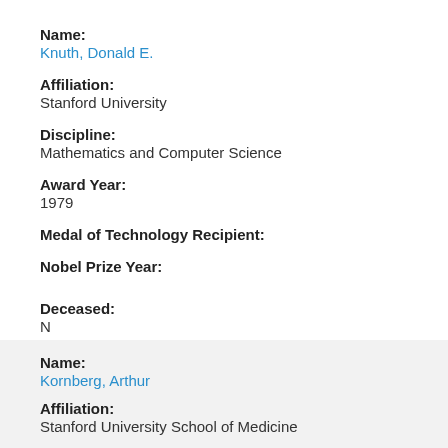Name:
Knuth, Donald E.
Affiliation:
Stanford University
Discipline:
Mathematics and Computer Science
Award Year:
1979
Medal of Technology Recipient:
Nobel Prize Year:
Deceased:
N
Name:
Kornberg, Arthur
Affiliation:
Stanford University School of Medicine